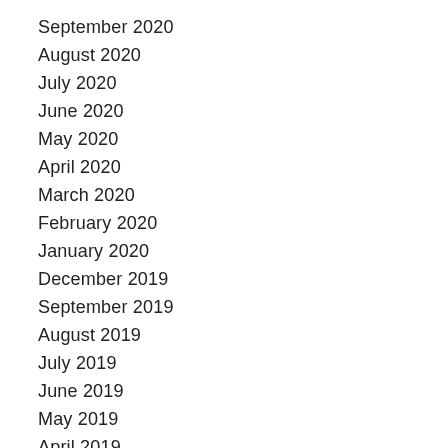September 2020
August 2020
July 2020
June 2020
May 2020
April 2020
March 2020
February 2020
January 2020
December 2019
September 2019
August 2019
July 2019
June 2019
May 2019
April 2019